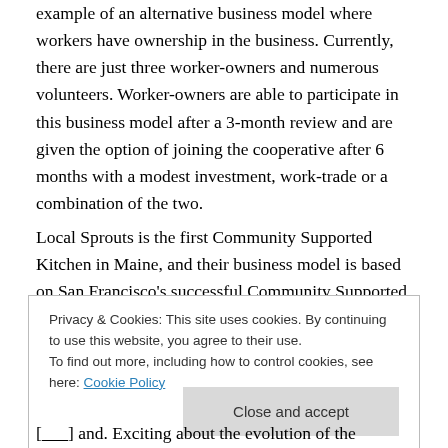example of an alternative business model where workers have ownership in the business. Currently, there are just three worker-owners and numerous volunteers. Worker-owners are able to participate in this business model after a 3-month review and are given the option of joining the cooperative after 6 months with a modest investment, work-trade or a combination of the two.
Local Sprouts is the first Community Supported Kitchen in Maine, and their business model is based on San Francisco's successful Community Supported Kitchen Three Stone Hearth. As a worker-owned business, Local
Privacy & Cookies: This site uses cookies. By continuing to use this website, you agree to their use.
To find out more, including how to control cookies, see here: Cookie Policy
Close and accept
[...] and. Exciting about the evolution of the business